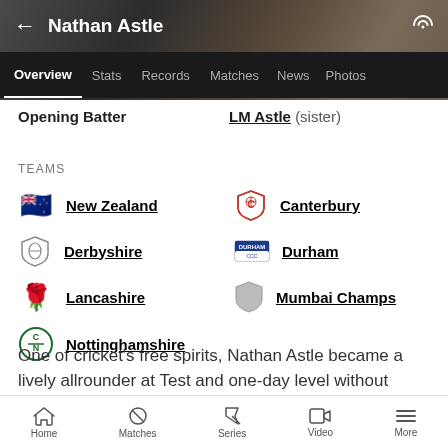[Figure (screenshot): Blurred cricket player photo background header]
Nathan Astle
Overview  Stats  Records  Matches  News  Photos
Opening Batter
LM Astle (sister)
TEAMS
New Zealand
Canterbury
Derbyshire
Durham
Lancashire
Mumbai Champs
Nottinghamshire
One of cricket's free spirits, Nathan Astle became a lively allrounder at Test and one-day level without
Home  Matches  Series  Video  More